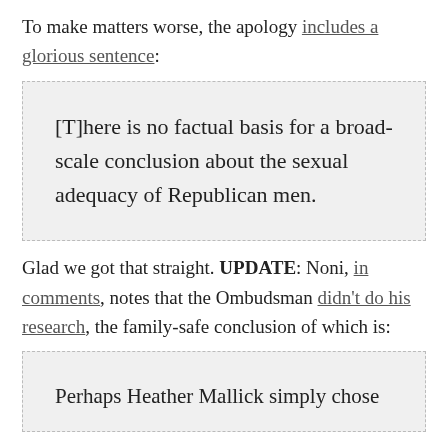To make matters worse, the apology includes a glorious sentence:
[T]here is no factual basis for a broad-scale conclusion about the sexual adequacy of Republican men.
Glad we got that straight. UPDATE: Noni, in comments, notes that the Ombudsman didn't do his research, the family-safe conclusion of which is:
Perhaps Heather Mallick simply chose